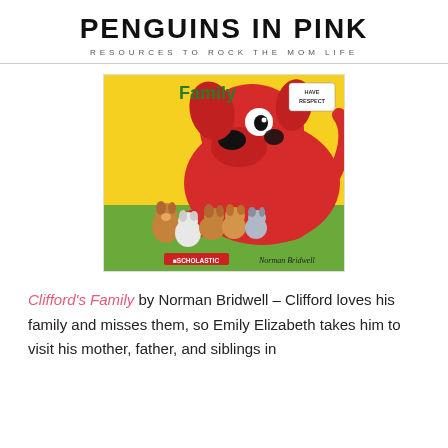PENGUINS IN PINK
RESOURCES TO ROCK THE MOM LIFE
[Figure (photo): Book cover of Clifford's Family by Norman Bridwell, showing Clifford the big red dog lying down with small puppies in front of him on a yellow and green background. Published by Scholastic.]
Clifford's Family by Norman Bridwell – Clifford loves his family and misses them, so Emily Elizabeth takes him to visit his mother, father, and siblings in